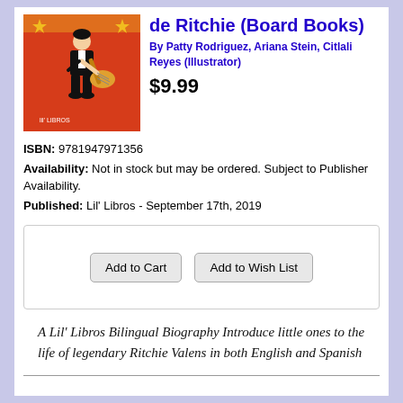[Figure (illustration): Book cover illustration showing a cartoon boy in a black suit playing a guitar on a red/orange background with 'Lil Libros' branding]
de Ritchie (Board Books)
By Patty Rodriguez, Ariana Stein, Citlali Reyes (Illustrator)
$9.99
ISBN: 9781947971356
Availability: Not in stock but may be ordered. Subject to Publisher Availability.
Published: Lil' Libros - September 17th, 2019
Add to Cart   Add to Wish List
A Lil' Libros Bilingual Biography Introduce little ones to the life of legendary Ritchie Valens in both English and Spanish